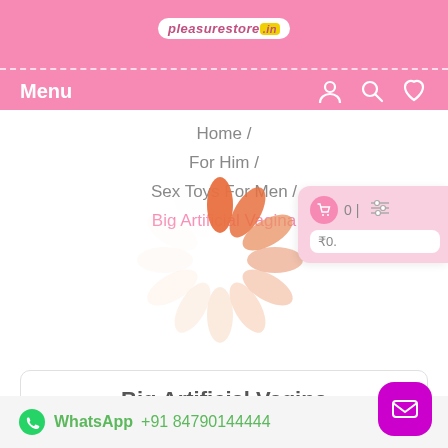pleasurestore.in — Header navigation with Menu, user, search, wishlist icons
Home / For Him / Sex Toys For Men / Big Artificial Vagina
[Figure (other): Loading spinner animation overlay on breadcrumb area]
[Figure (other): Cart popup showing 0 items and ₹0. price badge with filter icon]
Big Artificial Vagina
WhatsApp +91 84790144444